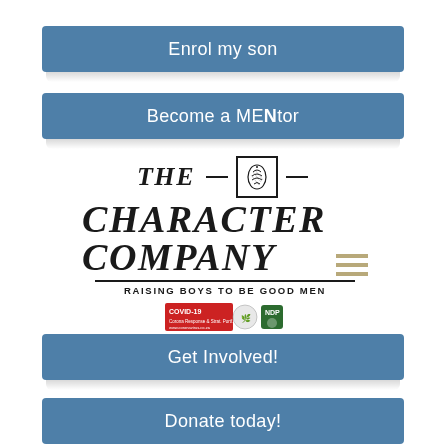Enrol my son
Become a MENtor
[Figure (logo): The Character Company logo with pine cone icon, tagline 'RAISING BOYS TO BE GOOD MEN', and COVID-19 badge]
Get Involved!
Donate today!